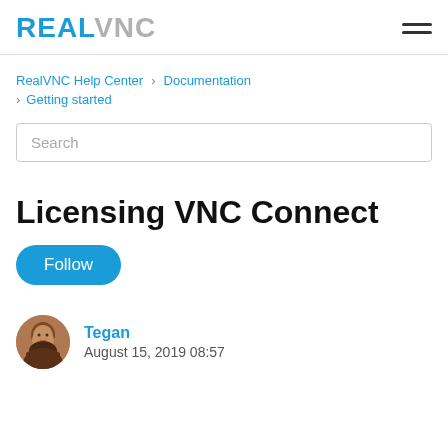RealVNC
RealVNC Help Center › Documentation › Getting started
Search
Licensing VNC Connect
Follow
Tegan
August 15, 2019 08:57